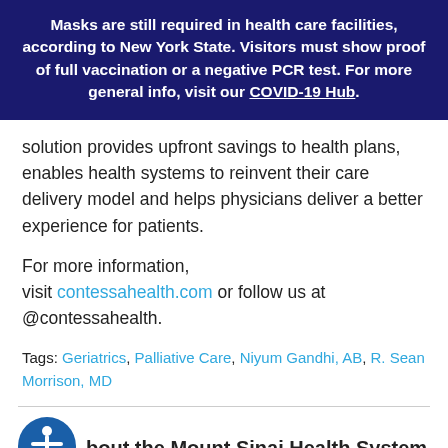Masks are still required in health care facilities, according to New York State. Visitors must show proof of full vaccination or a negative PCR test. For more general info, visit our COVID-19 Hub.
solution provides upfront savings to health plans, enables health systems to reinvent their care delivery model and helps physicians deliver a better experience for patients.
For more information, visit contessahealth.com or follow us at @contessahealth.
Tags: Geriatrics, Palliative Care, Niyum Gandhi, AB, R. Sean Morrison, MD
About the Mount Sinai Health System